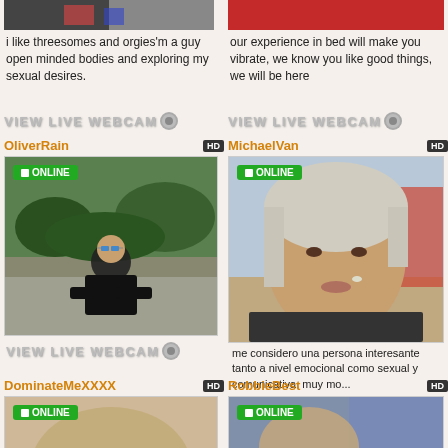[Figure (photo): Partial cropped photo top-left]
i like threesomes and orgies'm a guy open minded bodies and exploring my sexual desires.
VIEW LIVE WEBCAM
[Figure (photo): Partial cropped photo top-right of person in red]
our experience in bed will make you vibrate, we know you like good things, we will be here
VIEW LIVE WEBCAM
OliverRain
[Figure (photo): OliverRain profile photo - man sitting outdoors in black outfit with sunglasses, ONLINE badge, HD]
VIEW LIVE WEBCAM
MichaelVan
[Figure (photo): MichaelVan profile photo - close-up face photo of person, ONLINE badge, HD]
me considero una persona interesante tanto a nivel emocional como sexual y comunicativa. muy mo...
VIEW LIVE WEBCAM
DominateMeXXXX
[Figure (photo): DominateMeXXXX partial profile photo, ONLINE badge, HD]
RobbieBest
[Figure (photo): RobbieBest partial profile photo, ONLINE badge, HD]